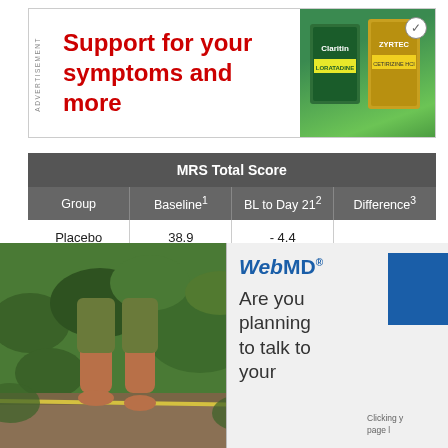[Figure (photo): Advertisement banner: 'Support for your symptoms and more' in red bold text with Claritin and Zyrtec product images on green background]
| Group | Baseline¹ | BL to Day 21² | Difference³ |
| --- | --- | --- | --- |
| Placebo | 38.9 | - 4.4 |  |
| Lithium | 37.9 | -10.5 | 6.1 |
| Depakote | 38.1 | - 9.5 | 5.1 |
[Figure (photo): Person's bare feet balancing on a slackline over green foliage]
[Figure (screenshot): WebMD popup asking 'Are you planning to talk to your' with blue box and 'Clicking you page l' text partially visible]